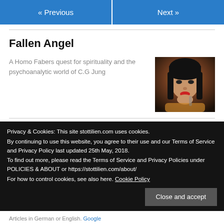« Previous   Next »
Fallen Angel
A Homo Fabers quest for spirituality and the psychoanalytic world of C.G Jung
[Figure (photo): Portrait of a woman with dark hair and red lips against a warm background]
Privacy & Cookies: This site stottilien.com uses cookies.
By continuing to use this website, you agree to their use and our Terms of Service and Privacy Policy last updated 25th May, 2018.
To find out more, please read the Terms of Service and Privacy Policies under POLICIES & ABOUT or https://stottilien.com/about/
For how to control cookies, see also here. Cookie Policy
Close and accept
Articles in German or English. Google